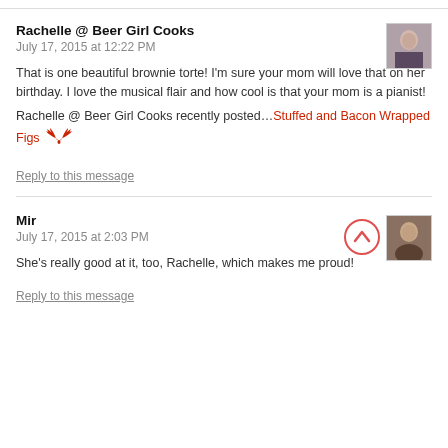Rachelle @ Beer Girl Cooks
July 17, 2015 at 12:22 PM
That is one beautiful brownie torte! I'm sure your mom will love that on her birthday. I love the musical flair and how cool is that your mom is a pianist!
Rachelle @ Beer Girl Cooks recently posted…Stuffed and Bacon Wrapped Figs
Reply to this message
Mir
July 17, 2015 at 2:03 PM
She's really good at it, too, Rachelle, which makes me proud!
Reply to this message